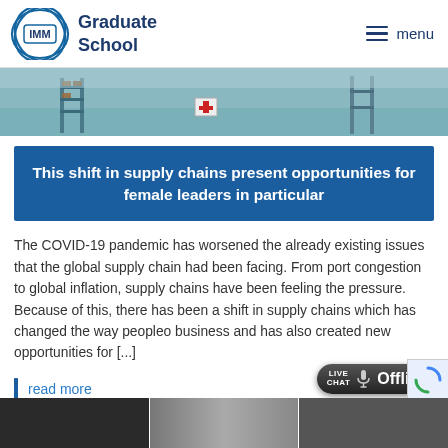IMM Graduate School — menu
[Figure (photo): Warehouse interior with shelving and boxes, teal-tinted wide shot]
This shift in supply chains present opportunities for female leaders in particular
The COVID-19 pandemic has worsened the already existing issues that the global supply chain had been facing. From port congestion to global inflation, supply chains have been feeling the pressure. Because of this, there has been a shift in supply chains which has changed the way peopleo business and has also created new opportunities for [...]
read more
[Figure (screenshot): Live Chat Offline widget button at bottom right]
[Figure (photo): Bottom image strip with dark partial image]